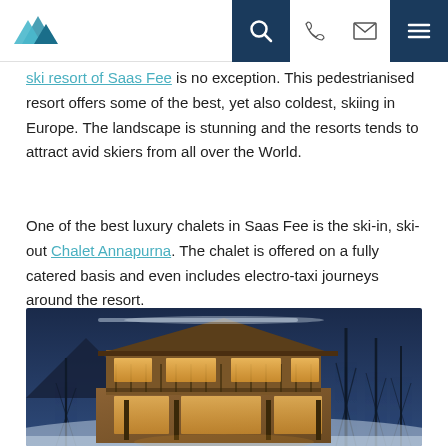Navigation bar with logo, search, phone, email, and menu icons
ski resort of Saas Fee is no exception. This pedestrianised resort offers some of the best, yet also coldest, skiing in Europe. The landscape is stunning and the resorts tends to attract avid skiers from all over the World.
One of the best luxury chalets in Saas Fee is the ski-in, ski-out Chalet Annapurna. The chalet is offered on a fully catered basis and even includes electro-taxi journeys around the resort.
[Figure (photo): Exterior night/dusk photo of a large luxury wooden chalet (Chalet Annapurna in Saas Fee) with warm interior lighting glowing through large windows, surrounded by snow and tall bare trees against a deep blue twilight sky.]